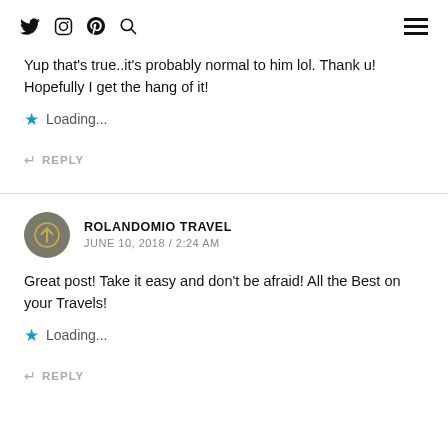Social icons: Twitter, Instagram, Pinterest, Search; Hamburger menu
Yup that's true..it's probably normal to him lol. Thank u! Hopefully I get the hang of it!
Loading...
REPLY
ROLANDOMIO TRAVEL
JUNE 10, 2018 / 2:24 AM
Great post! Take it easy and don't be afraid! All the Best on your Travels!
Loading...
REPLY